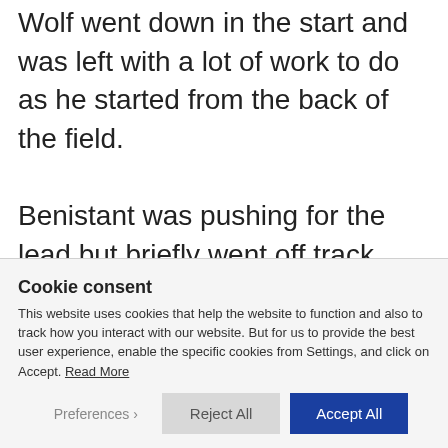Nestaan Husqvarna Factory Racing's Kay de Wolf went down in the start and was left with a lot of work to do as he started from the back of the field.
Benistant was pushing for the lead but briefly went off track, though managed to not to lose any positions. Geerts meanwhile began to push Pancar for the pass and shortly after, the
Cookie consent
This website uses cookies that help the website to function and also to track how you interact with our website. But for us to provide the best user experience, enable the specific cookies from Settings, and click on Accept. Read More